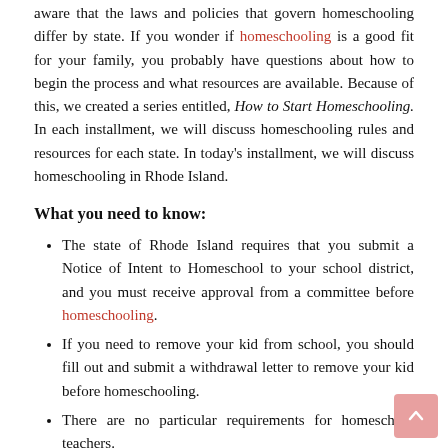aware that the laws and policies that govern homeschooling differ by state. If you wonder if homeschooling is a good fit for your family, you probably have questions about how to begin the process and what resources are available. Because of this, we created a series entitled, How to Start Homeschooling. In each installment, we will discuss homeschooling rules and resources for each state. In today's installment, we will discuss homeschooling in Rhode Island.
What you need to know:
The state of Rhode Island requires that you submit a Notice of Intent to Homeschool to your school district, and you must receive approval from a committee before homeschooling.
If you need to remove your kid from school, you should fill out and submit a withdrawal letter to remove your kid before homeschooling.
There are no particular requirements for homeschool teachers.
Homeschool learners are required to attend a minimum